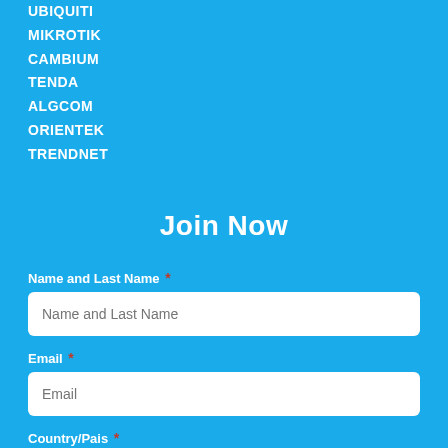UBIQUITI
MIKROTIK
CAMBIUM
TENDA
ALGCOM
ORIENTEK
TRENDNET
Join Now
Name and Last Name *
Email *
Country/Pais *